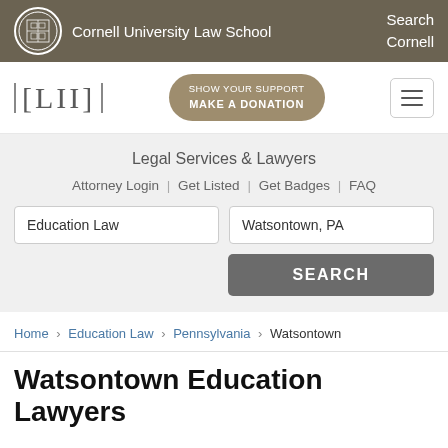Cornell University Law School  Search Cornell
[Figure (logo): LII Legal Information Institute logo with brackets]
[Figure (other): SHOW YOUR SUPPORT MAKE A DONATION button]
Legal Services & Lawyers
Attorney Login | Get Listed | Get Badges | FAQ
Education Law  |  Watsontown, PA  [SEARCH button]
Home › Education Law › Pennsylvania › Watsontown
Watsontown Education Lawyers